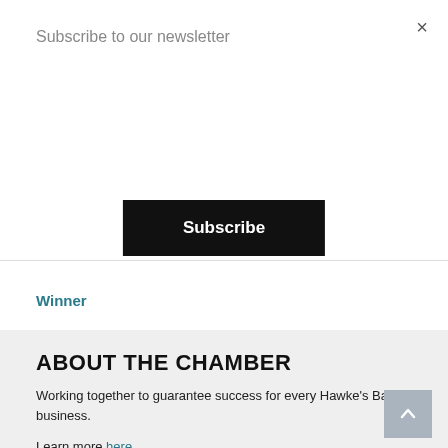Subscribe to our newsletter
Subscribe
×
Winner
ABOUT THE CHAMBER
Working together to guarantee success for every Hawke's Bay business.
Learn more here.
CONTACT THE CHAMBER